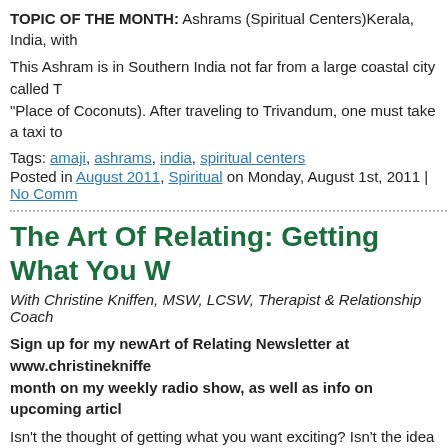TOPIC OF THE MONTH: Ashrams (Spiritual Centers)Kerala, India, with
This Ashram is in Southern India not far from a large coastal city called T "Place of Coconuts). After traveling to Trivandum, one must take a taxi to
Tags: amaji, ashrams, india, spiritual centers
Posted in August 2011, Spiritual on Monday, August 1st, 2011 | No Comm
The Art Of Relating: Getting What You W
With Christine Kniffen, MSW, LCSW, Therapist & Relationship Coach
Sign up for my newArt of Relating Newsletter at www.christinekniffe month on my weekly radio show, as well as info on upcoming articl
Isn't the thought of getting what you want exciting? Isn't the idea of a […]
Tags: alignment, getting what you want, love, relationships, the secret
Posted in August 2011, Relationships on Monday, August 1st, 2011 | No
The House of Wonder by a Quack: Upton Frequency Specific Micro-Current